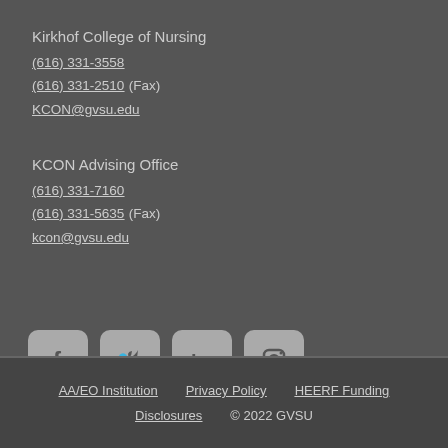Kirkhof College of Nursing
(616) 331-3558
(616) 331-2510 (Fax)
KCON@gvsu.edu
KCON Advising Office
(616) 331-7160
(616) 331-5635 (Fax)
kcon@gvsu.edu
[Figure (illustration): Social media icons: Facebook, Twitter, LinkedIn, Instagram]
AA/EO Institution   Privacy Policy   HEERF Funding   Disclosures   © 2022 GVSU